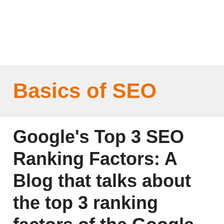Basics of SEO
Google's Top 3 SEO Ranking Factors: A Blog that talks about the top 3 ranking factors of the Google Algorithm
By Ajay Yelegaonkar